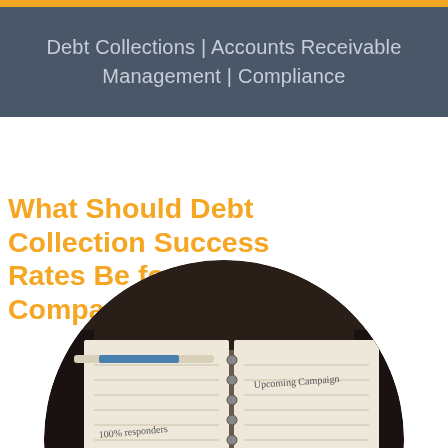Debt Collections | Accounts Receivable Management | Compliance
What Should Debt Collection Success Rates Be for My Company?
[Figure (photo): Circular cropped photo of an open spiral notebook with handwritten notes including '100% responders', '$5 each', 'conversation', and a hand-drawn bar chart labeled 'Upcoming Campaign'. A blue pen rests on the page. Orange glow visible in bottom-left corner.]